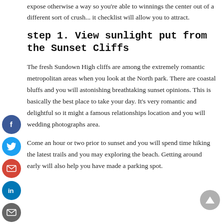expose otherwise a way so you're able to winnings the center out of a different sort of crush... it checklist will allow you to attract.
step 1. View sunlight put from the Sunset Cliffs
The fresh Sundown High cliffs are among the extremely romantic metropolitan areas when you look at the North park. There are coastal bluffs and you will astonishing breathtaking sunset opinions. This is basically the best place to take your day. It's very romantic and delightful so it might a famous relationships location and you will wedding photographs area.
Come an hour or two prior to sunset and you will spend time hiking the latest trails and you may exploring the beach. Getting around early will also help you have made a parking spot.